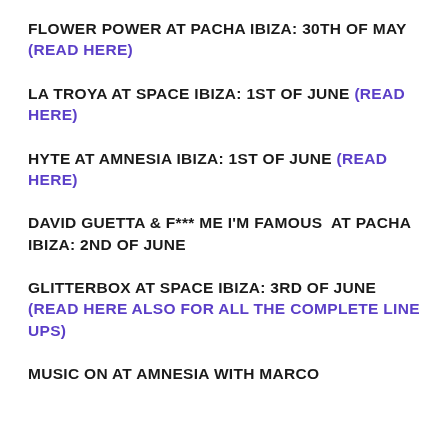FLOWER POWER AT PACHA IBIZA: 30TH OF MAY (READ HERE)
LA TROYA AT SPACE IBIZA: 1ST OF JUNE (READ HERE)
HYTE AT AMNESIA IBIZA: 1ST OF JUNE (READ HERE)
DAVID GUETTA & F*** ME I'M FAMOUS  AT PACHA IBIZA: 2ND OF JUNE
GLITTERBOX AT SPACE IBIZA: 3RD OF JUNE (READ HERE ALSO FOR ALL THE COMPLETE LINE UPS)
MUSIC ON AT AMNESIA WITH MARCO